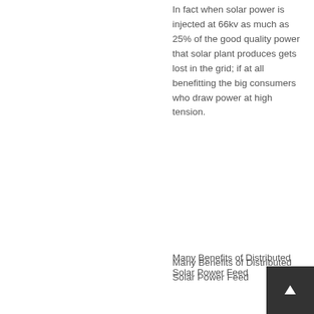In fact when solar power is injected at 66kv as much as 25% of the good quality power that solar plant produces gets lost in the grid; if at all benefitting the big consumers who draw power at high tension.
Many Benefits of Distributed Solar Power Feed
Governments indeed have another meaningful and technically sound alternative to use the PV solar power. It is the most effective and profitable way to redress our power problems at the consumer end. This is the way many experts now believe is the right way.
Local PV under 300kW Solar Power Plants
& We need to encourage say a